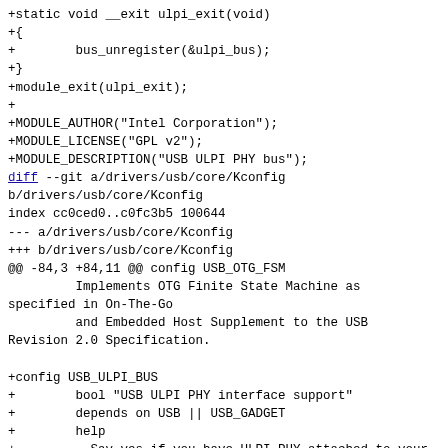+static void __exit ulpi_exit(void)
+{
+        bus_unregister(&ulpi_bus);
+}
+module_exit(ulpi_exit);
+
+MODULE_AUTHOR("Intel Corporation");
+MODULE_LICENSE("GPL v2");
+MODULE_DESCRIPTION("USB ULPI PHY bus");
diff --git a/drivers/usb/core/Kconfig
b/drivers/usb/core/Kconfig
index cc0ced0..c0fc3b5 100644
--- a/drivers/usb/core/Kconfig
+++ b/drivers/usb/core/Kconfig
@@ -84,3 +84,11 @@ config USB_OTG_FSM
          Implements OTG Finite State Machine as
specified in On-The-Go
          and Embedded Host Supplement to the USB
Revision 2.0 Specification.

+config USB_ULPI_BUS
+        bool "USB ULPI PHY interface support"
+        depends on USB || USB_GADGET
+        help
+          Say yes if you have ULPI PHY attached to your
USB controller.
+
+          If unsure, say N.
+
diff --git a/include/linux/mod_devicetable.h